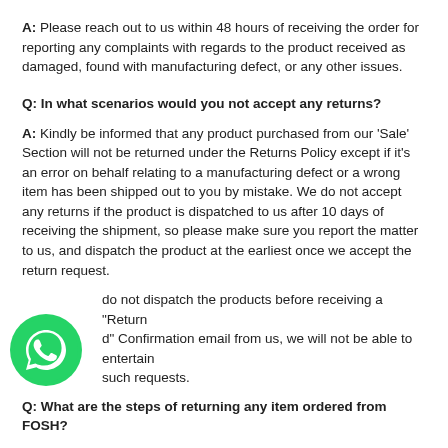A: Please reach out to us within 48 hours of receiving the order for reporting any complaints with regards to the product received as damaged, found with manufacturing defect, or any other issues.
Q: In what scenarios would you not accept any returns?
A: Kindly be informed that any product purchased from our 'Sale' Section will not be returned under the Returns Policy except if it's an error on behalf relating to a manufacturing defect or a wrong item has been shipped out to you by mistake. We do not accept any returns if the product is dispatched to us after 10 days of receiving the shipment, so please make sure you report the matter to us, and dispatch the product at the earliest once we accept the return request.
do not dispatch the products before receiving a "Return d" Confirmation email from us, we will not be able to entertain such requests.
Q: What are the steps of returning any item ordered from FOSH?